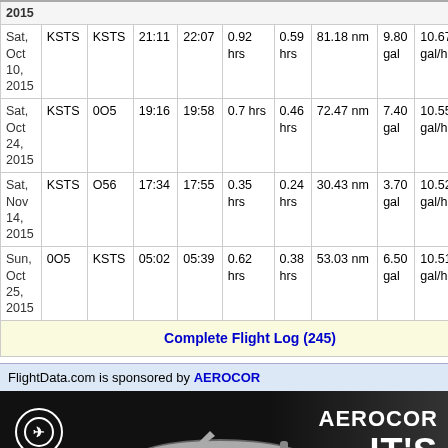| Date | From | To | Depart | Arrive | Total Time | Flight Time | Distance | Fuel Used | Fuel Economy | Fuel Rate |
| --- | --- | --- | --- | --- | --- | --- | --- | --- | --- | --- |
| 2015 |  |  |  |  |  |  |  |  |  |  |
| Sat, Oct 10, 2015 | KSTS | KSTS | 21:11 | 22:07 | 0.92 hrs | 0.59 hrs | 81.18 nm | 9.80 gal | 10.67 gal/hr | 0.12 gal/nm |
| Sat, Oct 24, 2015 | KSTS | 0O5 | 19:16 | 19:58 | 0.7 hrs | 0.46 hrs | 72.47 nm | 7.40 gal | 10.55 gal/hr | 0.10 gal/nm |
| Sat, Nov 14, 2015 | KSTS | O56 | 17:34 | 17:55 | 0.35 hrs | 0.24 hrs | 30.43 nm | 3.70 gal | 10.52 gal/hr | 0.12 gal/nm |
| Sun, Oct 25, 2015 | 0O5 | KSTS | 05:02 | 05:39 | 0.62 hrs | 0.38 hrs | 53.03 nm | 6.50 gal | 10.51 gal/hr | 0.12 gal/nm |
Complete Flight Log (245)
FlightData.com is sponsored by AEROCOR
[Figure (photo): AEROCOR Aircraft Sales & Acquisitions advertisement banner showing a small jet aircraft against dark background with text IT'S]